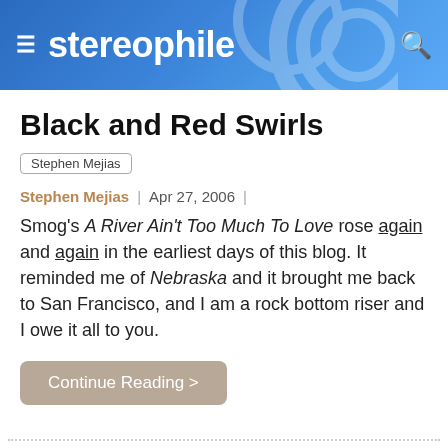stereophile
Black and Red Swirls
Stephen Mejias
Stephen Mejias | Apr 27, 2006 |
Smog's A River Ain't Too Much To Love rose again and again in the earliest days of this blog. It reminded me of Nebraska and it brought me back to San Francisco, and I am a rock bottom riser and I owe it all to you.
Continue Reading >